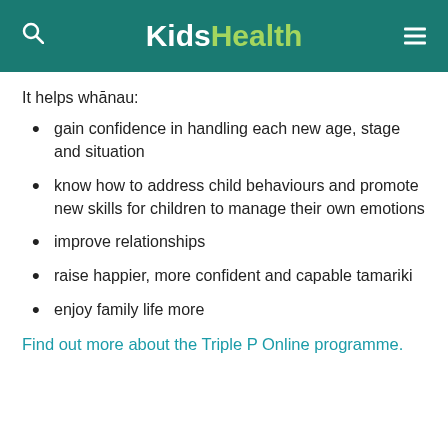KidsHealth
It helps whānau:
gain confidence in handling each new age, stage and situation
know how to address child behaviours and promote new skills for children to manage their own emotions
improve relationships
raise happier, more confident and capable tamariki
enjoy family life more
Find out more about the Triple P Online programme.